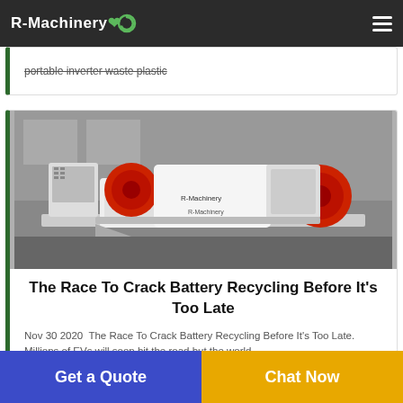R-Machinery
portable inverter waste plastic
[Figure (photo): Industrial battery recycling machine — white and red heavy machinery with conveyor belt components in a warehouse setting]
The Race To Crack Battery Recycling Before It's Too Late
Nov 30 2020  The Race To Crack Battery Recycling Before It's Too Late. Millions of EVs will soon hit the road but the world
Get a Quote
Chat Now